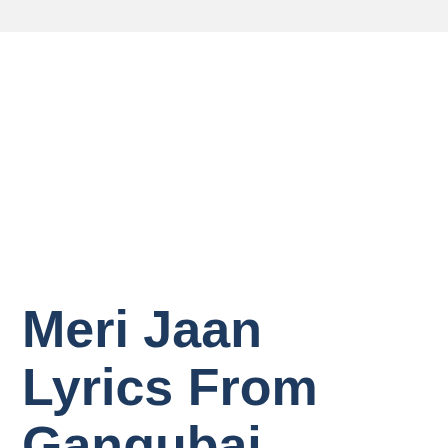Meri Jaan Lyrics From Gangubai Kathiawadi [English